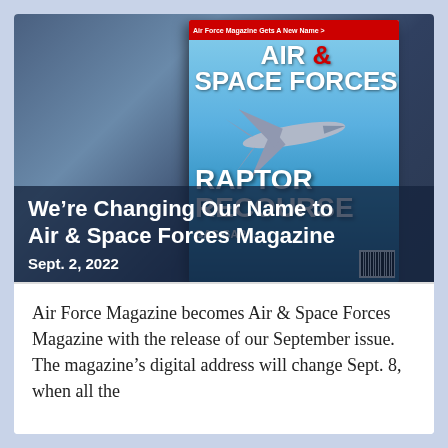[Figure (photo): Magazine cover of Air & Space Forces Magazine showing an F-22 Raptor jet aircraft in flight against a blue sky, with text 'RAPTOR RECOURSE' on the cover. Background is blurred dark blue/gray tones.]
We're Changing Our Name to Air & Space Forces Magazine
Sept. 2, 2022
Air Force Magazine becomes Air & Space Forces Magazine with the release of our September issue. The magazine's digital address will change Sept. 8, when all the